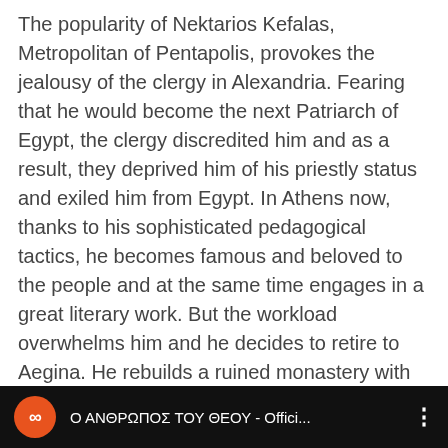The popularity of Nektarios Kefalas, Metropolitan of Pentapolis, provokes the jealousy of the clergy in Alexandria. Fearing that he would become the next Patriarch of Egypt, the clergy discredited him and as a result, they deprived him of his priestly status and exiled him from Egypt. In Athens now, thanks to his sophisticated pedagogical tactics, he becomes famous and beloved to the people and at the same time engages in a great literary work. But the workload overwhelms him and he decides to retire to Aegina. He rebuilds a ruined monastery with his own hands and, thanks to his fame, the monastery grows. The monastery, however, is never recognized, while Saint Nektarios is unjustly accused of immorality. At Aretaieio Hospital, just before his death, he will perform his last miracle.
[Figure (screenshot): Video player bar with orange circle logo containing chain icon, title 'Ο ΑΝΘΡΩΠΟΣ ΤΟΥ ΘΕΟΥ - Offici...' on black background with three-dot menu icon]